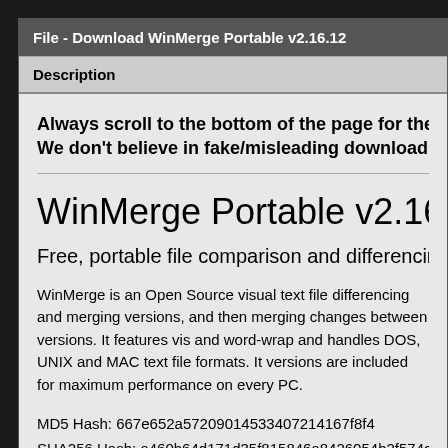File - Download WinMerge Portable v2.16.12
Description
Always scroll to the bottom of the page for the dow We don't believe in fake/misleading download butt
WinMerge Portable v2.16.12
Free, portable file comparison and differencing tool.
WinMerge is an Open Source visual text file differencing and merging versions, and then merging changes between versions. It features vis and word-wrap and handles DOS, UNIX and MAC text file formats. It versions are included for maximum performance on every PC.
MD5 Hash: 667e652a57209014533407214167f8f4
SHA256 Hash: a460b64d171d35f815846a8426054b2f574c60eb6ac8
System Requirements: Windows XP, Vista, 7, 8, 10, 11